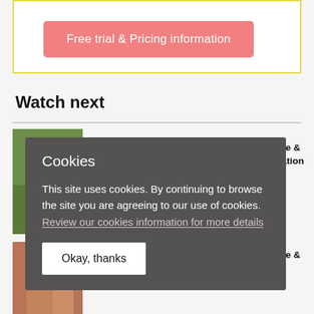[Figure (screenshot): Button labeled 'Free trial & Pricing information' with salmon/pink background inside a yellow-bordered white box]
Watch next
[Figure (photo): Thumbnail image of outdoor scene (greenery)]
secure base & n - observation
[Figure (photo): Thumbnail image of people]
secure base & n
[Figure (screenshot): Cookie consent overlay popup with title 'Cookies', body text about cookie usage with a link 'Review our cookies information for more details', and an 'Okay, thanks' button]